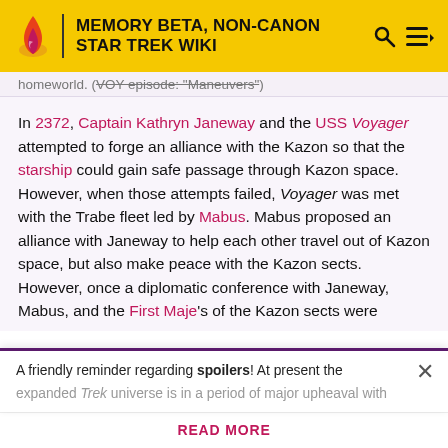MEMORY BETA, NON-CANON STAR TREK WIKI
homeworld. (VOY episode: "Maneuvers")
In 2372, Captain Kathryn Janeway and the USS Voyager attempted to forge an alliance with the Kazon so that the starship could gain safe passage through Kazon space. However, when those attempts failed, Voyager was met with the Trabe fleet led by Mabus. Mabus proposed an alliance with Janeway to help each other travel out of Kazon space, but also make peace with the Kazon sects. However, once a diplomatic conference with Janeway, Mabus, and the First Maje's of the Kazon sects were
A friendly reminder regarding spoilers! At present the expanded Trek universe is in a period of major upheaval with
READ MORE